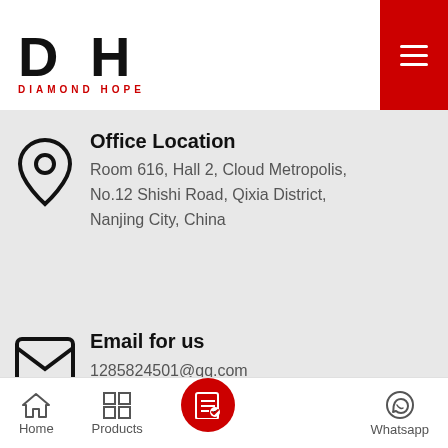DIAMOND HOPE
Office Location
Room 616, Hall 2, Cloud Metropolis, No.12 Shishi Road, Qixia District, Nanjing City, China
Email for us
1285824501@qq.com
xyp6598@vip.163.com
Email *
Phone
Home  Products  Whatsapp